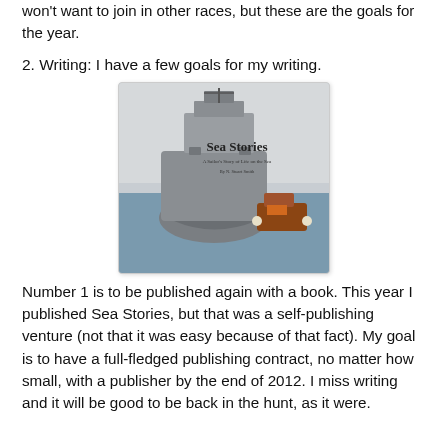won't want to join in other races, but these are the goals for the year.
2. Writing: I have a few goals for my writing.
[Figure (photo): Book cover of 'Sea Stories' showing a large naval ship (cruiser or destroyer) seen from the bow, with a smaller tugboat alongside, on grey water under a hazy sky. The title 'Sea Stories' is displayed in serif font on the right side of the cover.]
Number 1 is to be published again with a book. This year I published Sea Stories, but that was a self-publishing venture (not that it was easy because of that fact). My goal is to have a full-fledged publishing contract, no matter how small, with a publisher by the end of 2012. I miss writing and it will be good to be back in the hunt, as it were.